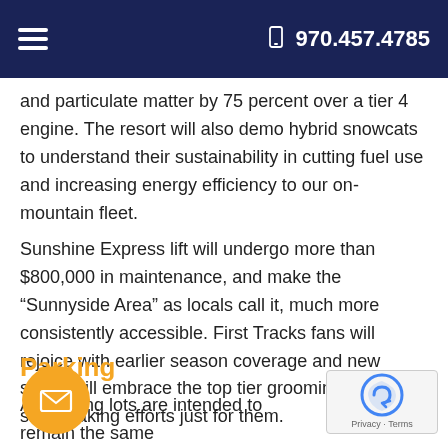970.457.4785
and particulate matter by 75 percent over a tier 4 engine. The resort will also demo hybrid snowcats to understand their sustainability in cutting fuel use and increasing energy efficiency to our on-mountain fleet.
Sunshine Express lift will undergo more than $800,000 in maintenance, and make the “Sunnyside Area” as locals call it, much more consistently accessible. First Tracks fans will rejoice with earlier season coverage and new skiers will embrace the top tier grooming and snowmaking efforts just for them.
Parking
All parking lots are intended to remain the same